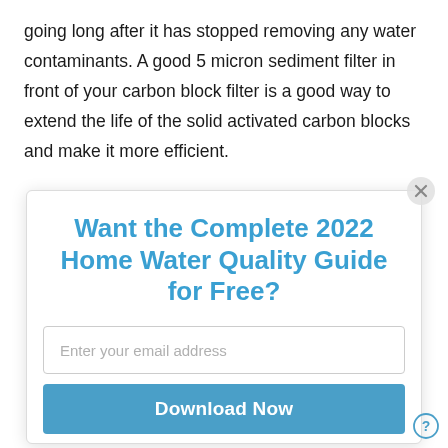going long after it has stopped removing any water contaminants. A good 5 micron sediment filter in front of your carbon block filter is a good way to extend the life of the solid activated carbon blocks and make it more efficient.
Want the Complete 2022 Home Water Quality Guide for Free?
Enter your email address
Download Now